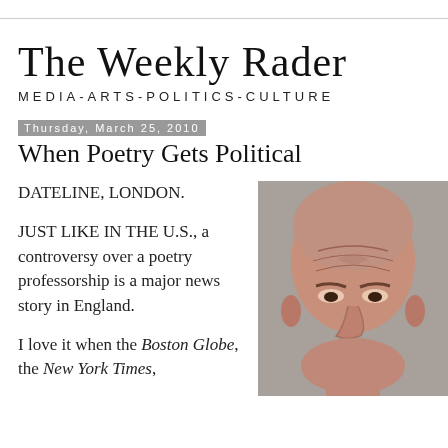The Weekly Rader
MEDIA-ARTS-POLITICS-CULTURE
Thursday, March 25, 2010
When Poetry Gets Political
DATELINE, LONDON.
JUST LIKE IN THE U.S., a controversy over a poetry professorship is a major news story in England.
I love it when the Boston Globe, the New York Times,
[Figure (photo): Close-up headshot of a bald older man with a furrowed brow and intense expression, against a grey background.]